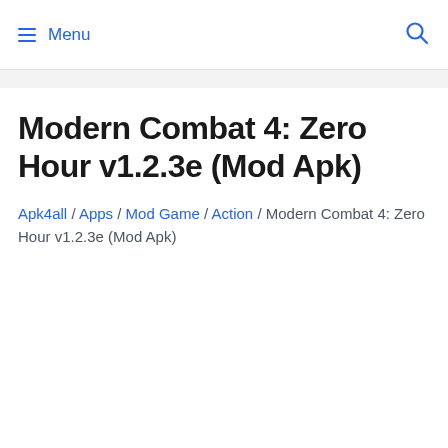☰ Menu
Modern Combat 4: Zero Hour v1.2.3e (Mod Apk)
Apk4all / Apps / Mod Game / Action / Modern Combat 4: Zero Hour v1.2.3e (Mod Apk)